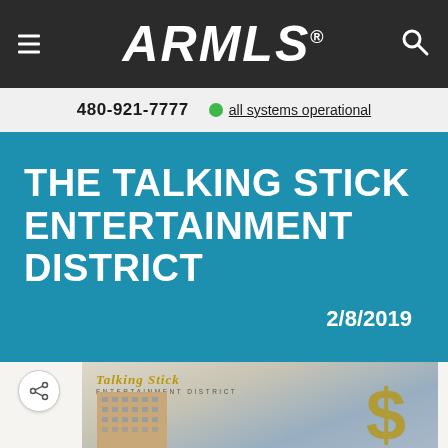ARMLS® | 480-921-7777 | all systems operational
THE TALKING STICK ENTERTAINMENT DISTRICT
2/8/2019
[Figure (photo): Talking Stick Entertainment District promotional image showing a hotel tower and a large gold dollar sign with the Talking Stick Entertainment District logo in gold serif lettering]